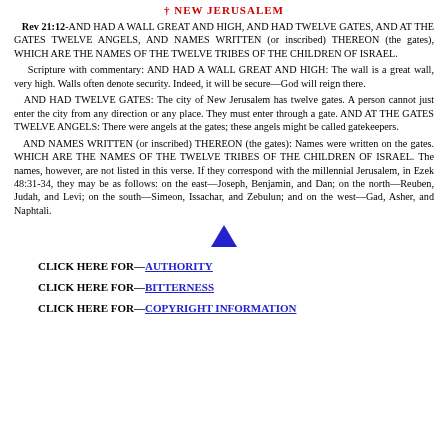NEW JERUSALEM
Rev 21:12-AND HAD A WALL GREAT AND HIGH, AND HAD TWELVE GATES, AND AT THE GATES TWELVE ANGELS, AND NAMES WRITTEN (or inscribed) THEREON (the gates), WHICH ARE THE NAMES OF THE TWELVE TRIBES OF THE CHILDREN OF ISRAEL.
Scripture with commentary: AND HAD A WALL GREAT AND HIGH: The wall is a great wall, very high. Walls often denote security. Indeed, it will be secure—God will reign there.
AND HAD TWELVE GATES: The city of New Jerusalem has twelve gates. A person cannot just enter the city from any direction or any place. They must enter through a gate. AND AT THE GATES TWELVE ANGELS: There were angels at the gates; these angels might be called gatekeepers.
AND NAMES WRITTEN (or inscribed) THEREON (the gates): Names were written on the gates. WHICH ARE THE NAMES OF THE TWELVE TRIBES OF THE CHILDREN OF ISRAEL. The names, however, are not listed in this verse. If they correspond with the millennial Jerusalem, in Ezek 48:31-34, they may be as follows: on the east—Joseph, Benjamin, and Dan; on the north—Reuben, Judah, and Levi; on the south—Simeon, Issachar, and Zebulun; and on the west—Gad, Asher, and Naphtali.
[Figure (other): Blue filled upward-pointing triangle symbol used as a section divider.]
CLICK HERE FOR—AUTHORITY
CLICK HERE FOR—BITTERNESS
CLICK HERE FOR—COPYRIGHT INFORMATION